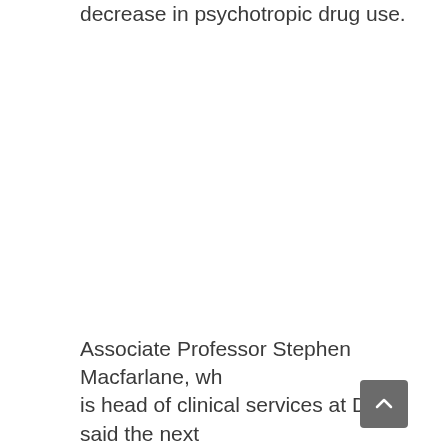decrease in psychotropic drug use.
Associate Professor Stephen Macfarlane, who is head of clinical services at DSA, said the next